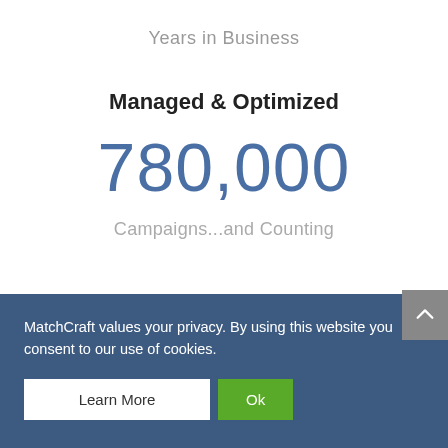Years in Business
Managed & Optimized
780,000
Campaigns...and Counting
MatchCraft values your privacy. By using this website you consent to our use of cookies.
Learn More
Ok